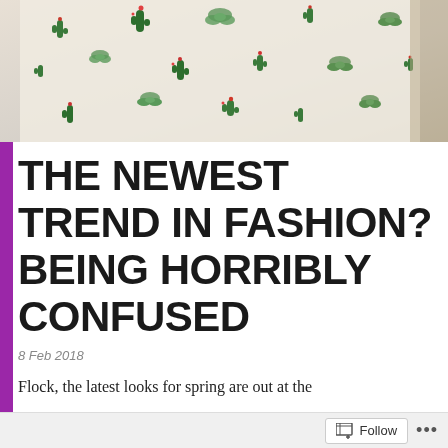[Figure (photo): Close-up photo of a white garment/shirt with small cactus and succulent plant print pattern in green and red colors]
THE NEWEST TREND IN FASHION? BEING HORRIBLY CONFUSED
8 Feb 2018
Flock, the latest looks for spring are out at the